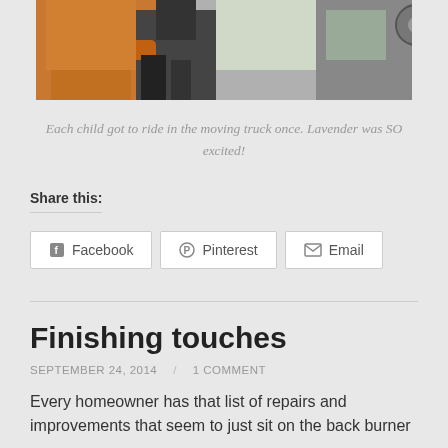[Figure (photo): Photo of a child riding in a moving truck, taken from inside the cab showing orange-shirted child and truck interior/mirror]
Each child got to ride in the moving truck once. Lavender was SO excited!
Share this:
Facebook  Pinterest  Email
Finishing touches
SEPTEMBER 24, 2014    1 COMMENT
Every homeowner has that list of repairs and improvements that seem to just sit on the back burner